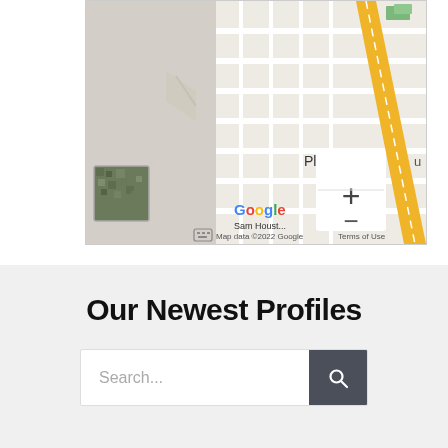[Figure (map): Google Maps screenshot showing a city street grid with a diagonal yellow road, zoom controls (+/-), satellite thumbnail, Google logo, and footer 'Map data ©2022 Google  Terms of Use']
Our Newest Profiles
Search...